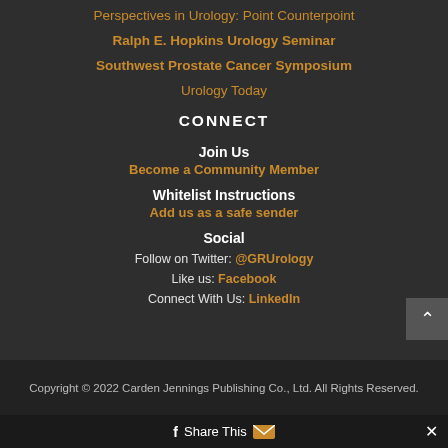Perspectives in Urology: Point Counterpoint
Ralph E. Hopkins Urology Seminar
Southwest Prostate Cancer Symposium
Urology Today
CONNECT
Join Us
Become a Community Member
Whitelist Instructions
Add us as a safe sender
Social
Follow on Twitter: @GRUrology
Like us: Facebook
Connect With Us: LinkedIn
Copyright © 2022 Carden Jennings Publishing Co., Ltd. All Rights Reserved.
Share This